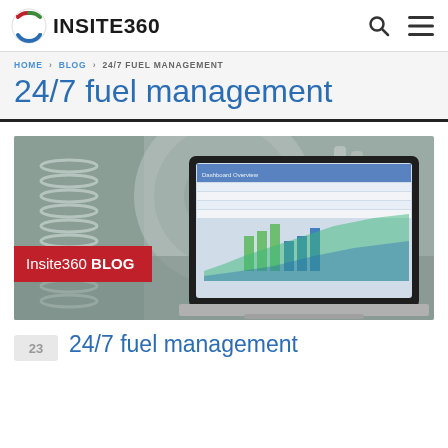INSITE360
HOME > BLOG > 24/7 FUEL MANAGEMENT
24/7 fuel management
[Figure (photo): Insite360 Blog banner image with industrial machinery background and laptop showing analytics charts, with red banner overlay reading 'Insite360 BLOG']
23  24/7 fuel management